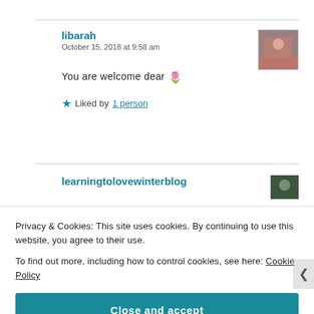libarah
October 15, 2018 at 9:58 am
You are welcome dear 🌷
★ Liked by 1 person
learningtolovewinterblog
Privacy & Cookies: This site uses cookies. By continuing to use this website, you agree to their use.
To find out more, including how to control cookies, see here: Cookie Policy
Close and accept